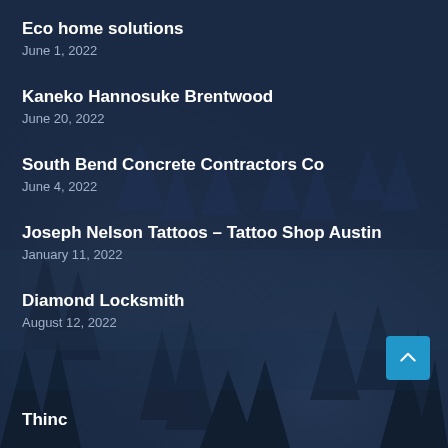Eco home solutions
June 1, 2022
Kaneko Hannosuke Brentwood
June 20, 2022
South Bend Concrete Contractors Co
June 4, 2022
Joseph Nelson Tattoos – Tattoo Shop Austin
January 11, 2022
Diamond Locksmith
August 12, 2022
Thinc